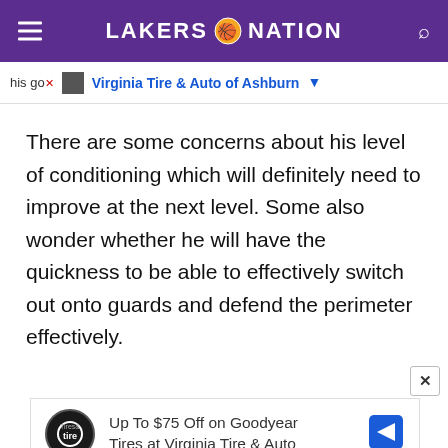LAKERS NATION
his go  Virginia Tire & Auto of Ashburn
There are some concerns about his level of conditioning which will definitely need to improve at the next level. Some also wonder whether he will have the quickness to be able to effectively switch out onto guards and defend the perimeter effectively.
[Figure (other): Advertisement banner: Up To $75 Off on Goodyear Tires at Virginia Tire & Auto with Goodyear logo and navigation arrow]